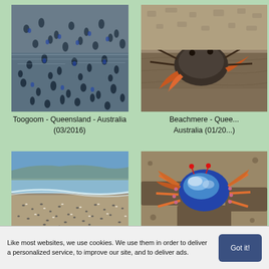[Figure (photo): Aerial or wide view of many birds/animals crowded in shallow water at Toogoom, Queensland, Australia]
Toogoom - Queensland - Australia (03/2016)
[Figure (photo): Close-up of a mud crab or similar crustacean on mudflat at Beachmere, Queensland, Australia]
Beachmere - Queensland - Australia (01/20...)
[Figure (photo): Wide beach scene with many small birds on sand near shoreline]
[Figure (photo): Close-up of a blue-shelled crab on sandy ground]
Like most websites, we use cookies. We use them in order to deliver a personalized service, to improve our site, and to deliver ads.
Got it!